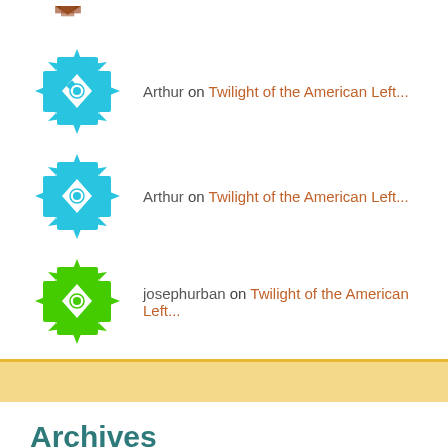[Figure (illustration): Cyan snowflake/geometric avatar icon (partially visible at top)]
Arthur on Twilight of the American Left...
Arthur on Twilight of the American Left...
josephurban on Twilight of the American Left...
Archives
August 2022 (3)
July 2022 (2)
June 2022 (1)